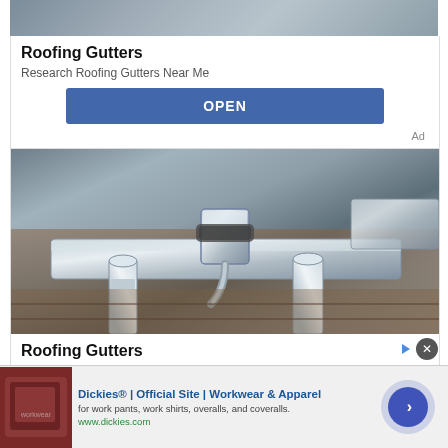[Figure (photo): Partial top of first ad card showing roofing gutters image (cropped at top)]
Roofing Gutters
Research Roofing Gutters Near Me
OPEN
Ad
[Figure (photo): Second ad card with close-up photo of metal roofing gutters with downspouts and connectors on roof edge]
Roofing Gutters
Research Roofing Gutters Near Me
OPEN
Ad
[Figure (photo): Bottom banner ad for Dickies showing red/brown leather seating thumbnail]
Dickies® | Official Site | Workwear & Apparel
for work pants, work shirts, overalls, and coveralls.
www.dickies.com